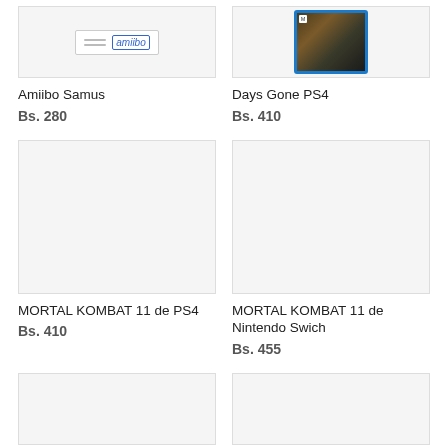[Figure (photo): Amiibo Samus product image - white box with amiibo logo]
Amiibo Samus
Bs. 280
[Figure (photo): Days Gone PS4 game cover with blue PS4 case]
Days Gone PS4
Bs. 410
[Figure (photo): MORTAL KOMBAT 11 de PS4 product image - blank/white]
MORTAL KOMBAT 11 de PS4
Bs. 410
[Figure (photo): MORTAL KOMBAT 11 de Nintendo Swich product image - blank/white]
MORTAL KOMBAT 11 de Nintendo Swich
Bs. 455
[Figure (photo): Bottom left product image - partially visible, blank]
[Figure (photo): Bottom right product image - partially visible, blank]